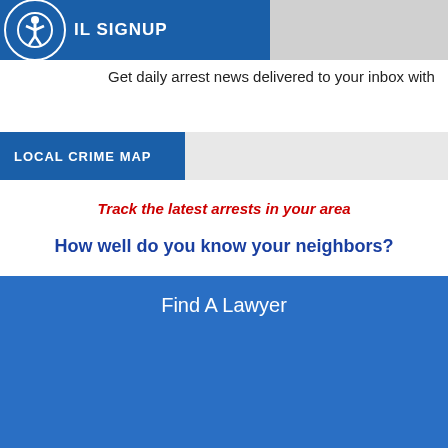EMAIL SIGNUP
Get daily arrest news delivered to your inbox with
LOCAL CRIME MAP
Track the latest arrests in your area
How well do you know your neighbors?
Find A Lawyer